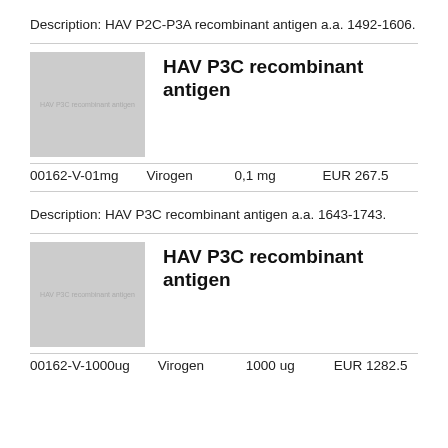Description: HAV P2C-P3A recombinant antigen a.a. 1492-1606.
[Figure (photo): Product image placeholder for HAV P3C recombinant antigen]
HAV P3C recombinant antigen
00162-V-01mg    Virogen    0,1 mg    EUR 267.5
Description: HAV P3C recombinant antigen a.a. 1643-1743.
[Figure (photo): Product image placeholder for HAV P3C recombinant antigen]
HAV P3C recombinant antigen
00162-V-1000ug    Virogen    1000 ug    EUR 1282.5